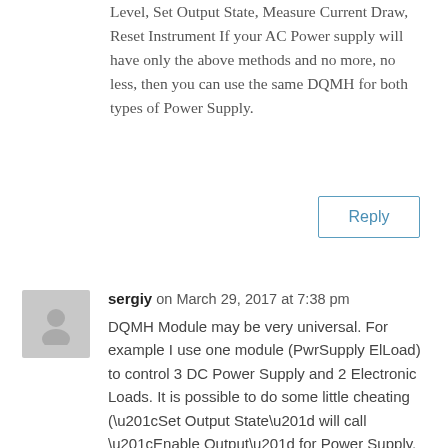Level, Set Output State, Measure Current Draw, Reset Instrument If your AC Power supply will have only the above methods and no more, no less, then you can use the same DQMH for both types of Power Supply.
Reply
sergiy on March 29, 2017 at 7:38 pm
DQMH Module may be very universal. For example I use one module (PwrSupply ElLoad) to control 3 DC Power Supply and 2 Electronic Loads. It is possible to do some little cheating (“Set Output State” will call “Enable Output” for Power Supply, and “Enable Input” for Electronic Load). But AC and DC Power